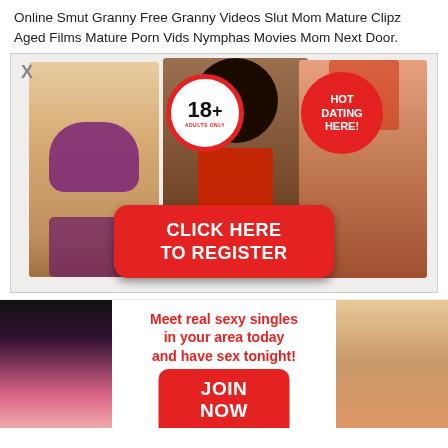Online Smut Granny Free Granny Videos Slut Mom Mature Clipz Aged Films Mature Porn Vids Nymphas Movies Mom Next Door.
[Figure (advertisement): Adult dating advertisement with three women figures, 18+ badge, HOT DATING HERE badge, and CLICK HERE TO REGISTER red button]
[Figure (advertisement): Adult dating banner with two women figures on sides, red text: Meet real sexy singles in your area today and have sex tonight!, JOIN NOW red button]